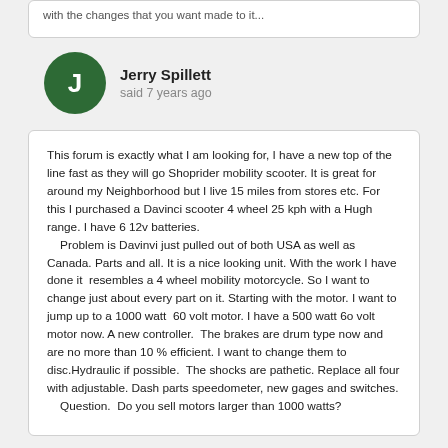with the changes that you want made to it...
Jerry Spillett
said 7 years ago
This forum is exactly what I am looking for, I have a new top of the line fast as they will go Shoprider mobility scooter. It is great for around my Neighborhood but I live 15 miles from stores etc. For this I purchased a Davinci scooter 4 wheel 25 kph with a Hugh range. I have 6 12v batteries.
    Problem is Davinvi just pulled out of both USA as well as Canada. Parts and all. It is a nice looking unit. With the work I have done it  resembles a 4 wheel mobility motorcycle. So I want to change just about every part on it. Starting with the motor. I want to jump up to a 1000 watt  60 volt motor. I have a 500 watt 6o volt motor now. A new controller.  The brakes are drum type now and are no more than 10 % efficient. I want to change them to disc.Hydraulic if possible.  The shocks are pathetic. Replace all four with adjustable. Dash parts speedometer, new gages and switches.
    Question.  Do you sell motors larger than 1000 watts?